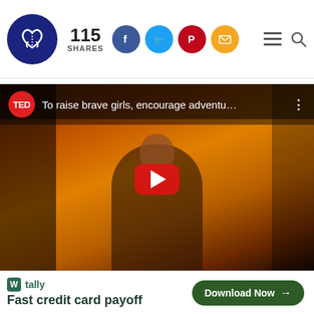115 SHARES — social sharing bar with Facebook, Twitter, Pinterest, Email icons and hamburger menu/search
[Figure (screenshot): TED Talk YouTube video thumbnail: 'To raise brave girls, encourage adventu...' showing a woman speaker on stage with warm orange/amber lighting and a red YouTube play button overlay]
[Figure (screenshot): Tally app advertisement banner: 'tally — Fast credit card payoff' with a green 'Download Now' button]